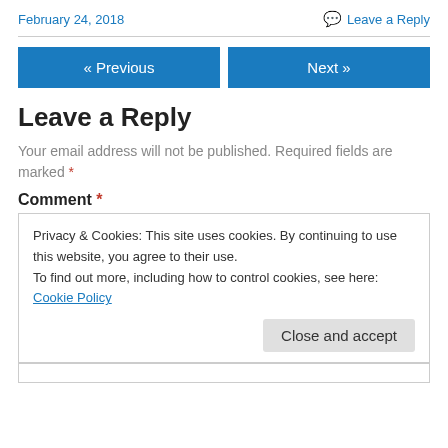February 24, 2018
Leave a Reply
« Previous
Next »
Leave a Reply
Your email address will not be published. Required fields are marked *
Comment *
Privacy & Cookies: This site uses cookies. By continuing to use this website, you agree to their use.
To find out more, including how to control cookies, see here: Cookie Policy
Close and accept